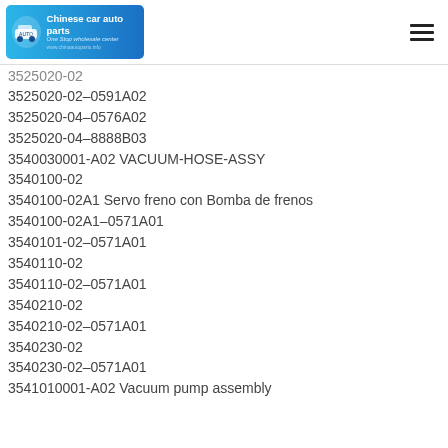[Figure (logo): Chinese car auto parts logo with blue background, car icon, and text 'Chinese car auto parts / One Stop wholesale center']
3525020-02
3525020-02-0591A02
3525020-04-0576A02
3525020-04-8888B03
3540030001-A02 VACUUM-HOSE-ASSY
3540100-02
3540100-02A1 Servo freno con Bomba de frenos
3540100-02A1-0571A01
3540101-02-0571A01
3540110-02
3540110-02-0571A01
3540210-02
3540210-02-0571A01
3540230-02
3540230-02-0571A01
3541010001-A02 Vacuum pump assembly